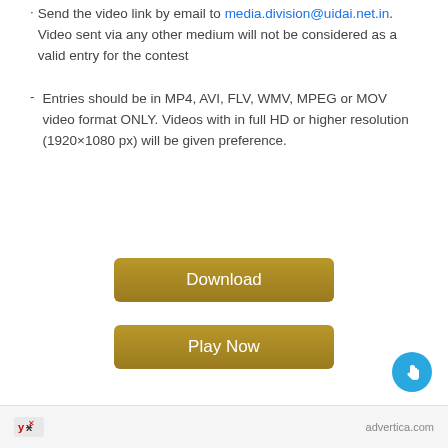· Send the video link by email to media.division@uidai.net.in. Video sent via any other medium will not be considered as a valid entry for the contest
- Entries should be in MP4, AVI, FLV, WMV, MPEG or MOV video format ONLY. Videos with in full HD or higher resolution (1920×1080 px) will be given preference.
[Figure (other): Download button — gold/brown rectangular button with white text 'Download']
[Figure (other): Play Now button — gold/brown rectangular button with white text 'Play Now']
[Figure (other): Blue circular icon with white hand/pointer symbol at bottom right]
advertica.com